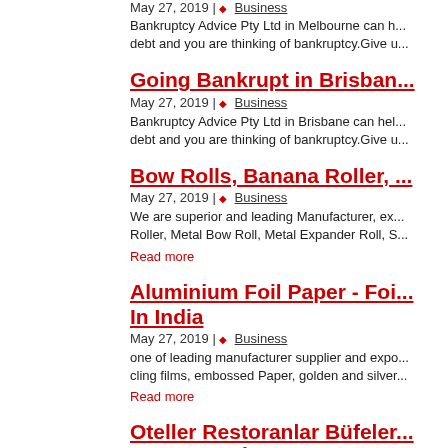May 27, 2019 | ◆ Business
Bankruptcy Advice Pty Ltd in Melbourne can h... debt and you are thinking of bankruptcy.Give u...
Going Bankrupt in Brisban...
May 27, 2019 | ◆ Business
Bankruptcy Advice Pty Ltd in Brisbane can hel... debt and you are thinking of bankruptcy.Give u...
Bow Rolls, Banana Roller, ...
May 27, 2019 | ◆ Business
We are superior and leading Manufacturer, ex... Roller, Metal Bow Roll, Metal Expander Roll, S...
Read more
Aluminium Foil Paper - Foi... In India
May 27, 2019 | ◆ Business
one of leading manufacturer supplier and expo... cling films, embossed Paper, golden and silver...
Read more
Oteller Restoranlar Büfeler... Lokantalar İçin Mutfak Ekip...
May 27, 2019 | ◆ Business
Oteller Restoranlar Büfeler Kebapçılar Okullar... www.mutfakmalzemeleri.com 0212 2370749 ...
v belt pulley – Manufacture...